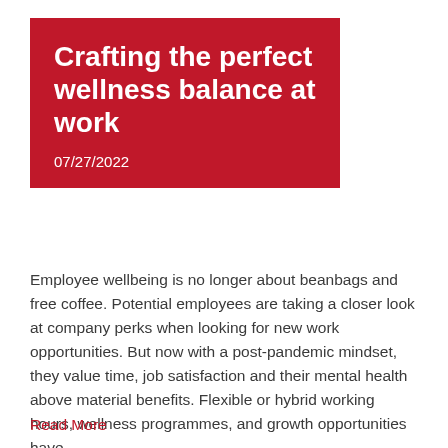Crafting the perfect wellness balance at work
07/27/2022
Employee wellbeing is no longer about beanbags and free coffee. Potential employees are taking a closer look at company perks when looking for new work opportunities. But now with a post-pandemic mindset, they value time, job satisfaction and their mental health above material benefits. Flexible or hybrid working hours, wellness programmes, and growth opportunities have...
Read More